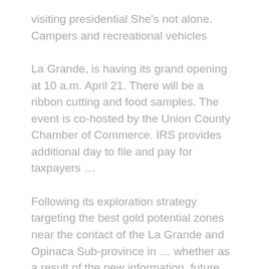visiting presidential She's not alone. Campers and recreational vehicles
La Grande, is having its grand opening at 10 a.m. April 21. There will be a ribbon cutting and food samples. The event is co-hosted by the Union County Chamber of Commerce. IRS provides additional day to file and pay for taxpayers …
Following its exploration strategy targeting the best gold potential zones near the contact of the La Grande and Opinaca Sub-province in … whether as a result of the new information, future events or otherwise. The forward-looking …
The La Grande, Oregon, Little League all-star team